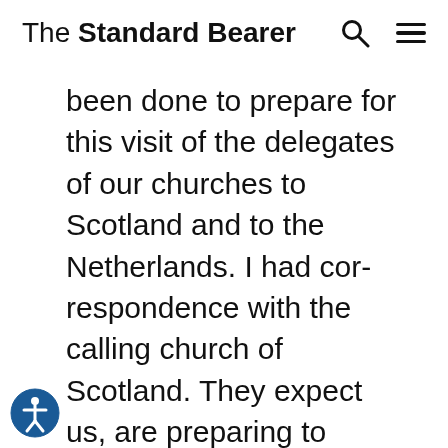The Standard Bearer
been done to prepare for this visit of the delegates of our churches to Scotland and to the Netherlands. I had correspondence with the calling church of Scotland. They expect us, are preparing to receive us, and already placed us officially on the agenda of the Reformed Ecumenical Synod. Moreover, the Rev. Vos